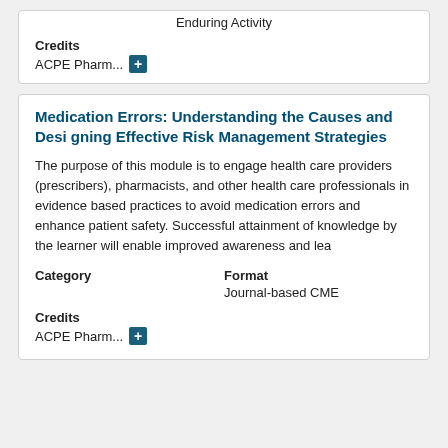Enduring Activity
Credits
ACPE Pharm... +
Medication Errors: Understanding the Causes and Designing Effective Risk Management Strategies
The purpose of this module is to engage health care providers (prescribers), pharmacists, and other health care professionals in evidence based practices to avoid medication errors and enhance patient safety. Successful attainment of knowledge by the learner will enable improved awareness and lea
Category
Format
Journal-based CME
Credits
ACPE Pharm... +